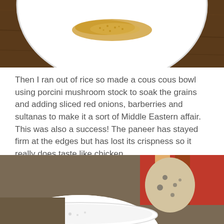[Figure (photo): Top portion of a white plate with couscous on a dark wooden table, partially cropped at top]
Then I ran out of rice so made a cous cous bowl using porcini mushroom stock to soak the grains and adding sliced red onions, barberries and sultanas to make it a sort of Middle Eastern affair. This was also a success! The paneer has stayed firm at the edges but has lost its crispness so it really does taste like chicken.
[Figure (photo): Bottom portion showing a white bowl and colorful fabric/cushion in background, partially cropped]